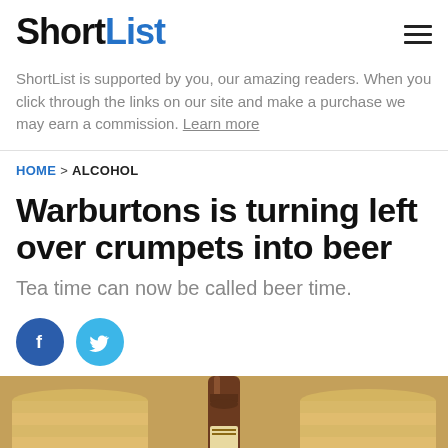ShortList
ShortList is supported by you, our amazing readers. When you click through the links on our site and make a purchase we may earn a commission. Learn more
HOME > ALCOHOL
Warburtons is turning left over crumpets into beer
Tea time can now be called beer time.
[Figure (other): Facebook and Twitter social share buttons]
[Figure (photo): Photo of stacked crumpets with a beer bottle in the center]